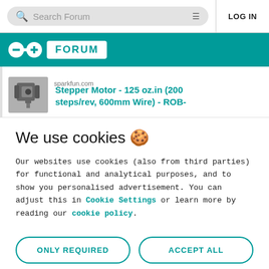Search Forum | LOG IN
FORUM (Arduino Forum)
sparkfun.com
Stepper Motor - 125 oz.in (200 steps/rev, 600mm Wire) - ROB-
We use cookies 🍪
Our websites use cookies (also from third parties) for functional and analytical purposes, and to show you personalised advertisement. You can adjust this in Cookie Settings or learn more by reading our cookie policy.
ONLY REQUIRED
ACCEPT ALL